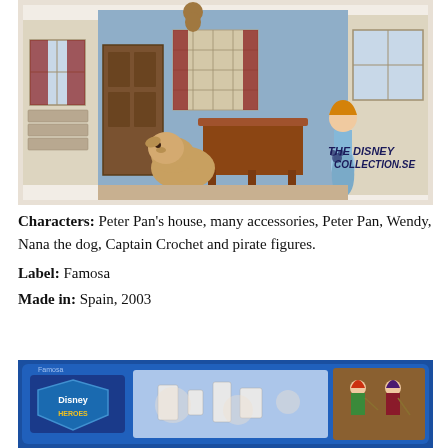[Figure (photo): Photo of a Peter Pan Disney toy playset showing a dollhouse-style home interior with figures including Wendy in a blue dress, Nana the dog, and other characters. The Disney Collection.se watermark is visible.]
Characters: Peter Pan's house, many accessories, Peter Pan, Wendy, Nana the dog, Captain Crochet and pirate figures.
Label: Famosa
Made in: Spain, 2003
[Figure (photo): Photo of a Disney Heroes toy set packaging with blue background showing small figurines including characters with red hair and a villain figure, branded with Disney Heroes logo.]